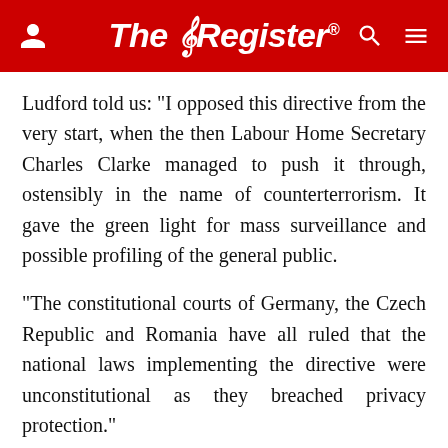The Register
Ludford told us: "I opposed this directive from the very start, when the then Labour Home Secretary Charles Clarke managed to push it through, ostensibly in the name of counterterrorism. It gave the green light for mass surveillance and possible profiling of the general public.
"The constitutional courts of Germany, the Czech Republic and Romania have all ruled that the national laws implementing the directive were unconstitutional as they breached privacy protection."
"The law needs to be tightened up so that searches can only be conducted for the purpose of combating terrorism and other really serious criminality, and the